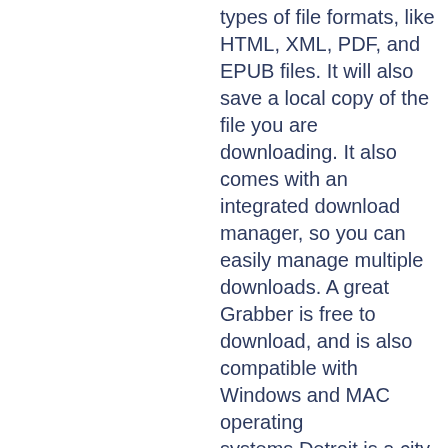types of file formats, like HTML, XML, PDF, and EPUB files. It will also save a local copy of the file you are downloading. It also comes with an integrated download manager, so you can easily manage multiple downloads. A great Grabber is free to download, and is also compatible with Windows and MAC operating systems.Detroit is a city that some people find kind of dirty. Yes, it's true. If you talk to people outside of the city, they might not have a good impression of Detroit. We're really just a little bit behind. We're trying to catch up. This mural in a community garden in Detroit could probably serve as a sticker on a very nice pickup truck. Art and design and Detroit can do a lot of good. There's not much I would say about Detroit that's not true, not really. I just want to add this: Detroit is a small town and we're just a part of a big city. So we